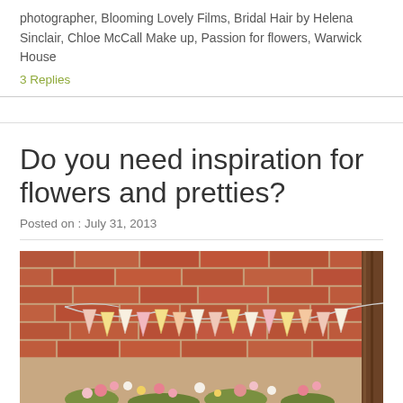photographer, Blooming Lovely Films, Bridal Hair by Helena Sinclair, Chloe McCall Make up, Passion for flowers, Warwick House
3 Replies
Do you need inspiration for flowers and pretties?
Posted on : July 31, 2013
[Figure (photo): Photo of a brick wall decorated with bunting/pennant flags in pastel colors (pink, yellow, white) and flowers arranged at the bottom, taken in a barn-like setting]